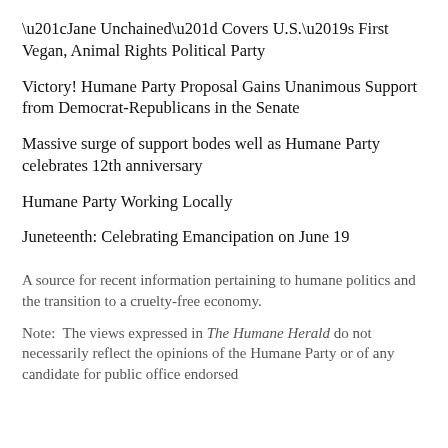“Jane Unchained” Covers U.S.’s First Vegan, Animal Rights Political Party
Victory! Humane Party Proposal Gains Unanimous Support from Democrat-Republicans in the Senate
Massive surge of support bodes well as Humane Party celebrates 12th anniversary
Humane Party Working Locally
Juneteenth: Celebrating Emancipation on June 19
A source for recent information pertaining to humane politics and the transition to a cruelty-free economy.
Note:  The views expressed in The Humane Herald do not necessarily reflect the opinions of the Humane Party or of any candidate for public office endorsed